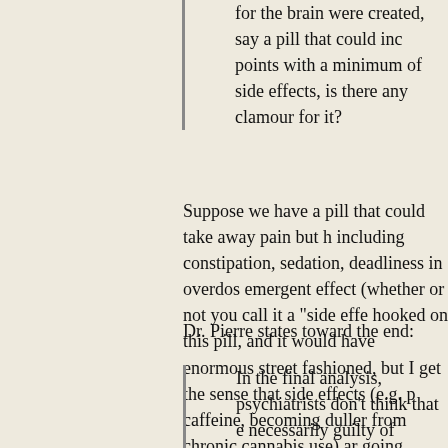for the brain were created, say a pill that could incr points with a minimum of side effects, is there any clamour for it?
Suppose we have a pill that could take away pain but h including constipation, sedation, deadliness in overdos emergent effect (whether or not you call it a "side effe hooked on this pill, and it would have enormous street fashioned, but I get the sense that side effects (e.g. p caffeine, becoming duller from chronic cannabis use) ar going overboard with too much of a good thing.
Dr. Pierre states toward the end:
In the final analysis, psychiatrists don't think that e necessarily guilty of pathologising normal existenc the populace as pawns of the drug companies. Ins can to relieve the suffering of those coming for he people away.